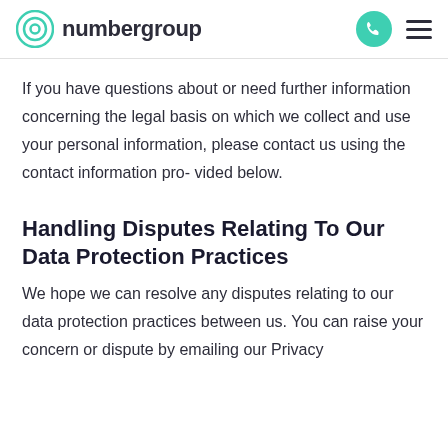numbergroup
If you have questions about or need further information concerning the legal basis on which we collect and use your personal information, please contact us using the contact information pro- vided below.
Handling Disputes Relating To Our Data Protection Practices
We hope we can resolve any disputes relating to our data protection practices between us. You can raise your concern or dispute by emailing our Privacy